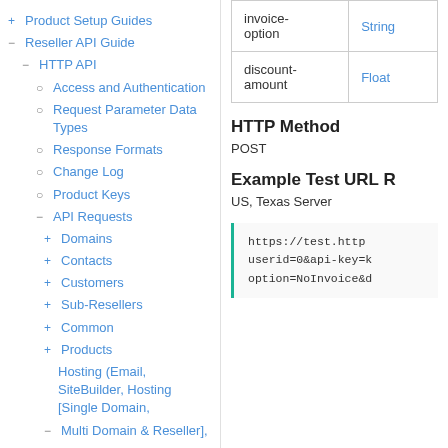+ Product Setup Guides
- Reseller API Guide
- HTTP API
○ Access and Authentication
○ Request Parameter Data Types
○ Response Formats
○ Change Log
○ Product Keys
- API Requests
+ Domains
+ Contacts
+ Customers
+ Sub-Resellers
+ Common
+ Products
Hosting (Email, SiteBuilder, Hosting [Single Domain,
- Multi Domain & Reseller],
|  |  |
| --- | --- |
| invoice-option | String |
| discount-amount | Float |
HTTP Method
POST
Example Test URL R
US, Texas Server
https://test.http
userid=0&api-key=k
option=NoInvoice&d